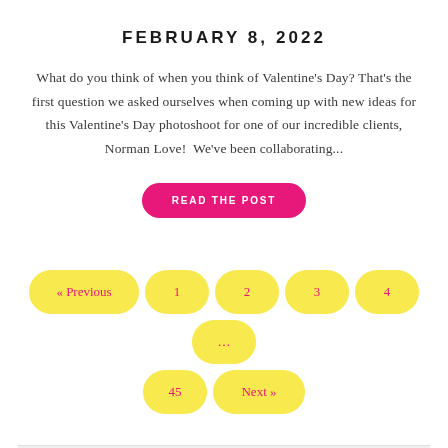FEBRUARY 8, 2022
What do you think of when you think of Valentine's Day? That's the first question we asked ourselves when coming up with new ideas for this Valentine's Day photoshoot for one of our incredible clients, Norman Love!  We've been collaborating...
READ THE POST
« Previous
1
2
3
4
…
45
Next »